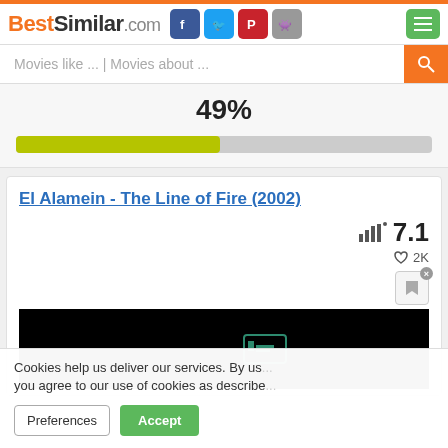BestSimilar.com
Movies like ... | Movies about ...
[Figure (other): Progress bar showing 49% similarity score with yellow-green fill on grey background]
El Alamein - The Line of Fire (2002)
7.1
2K
Cookies help us deliver our services. By us... you agree to our use of cookies as describe...
Preferences
Accept